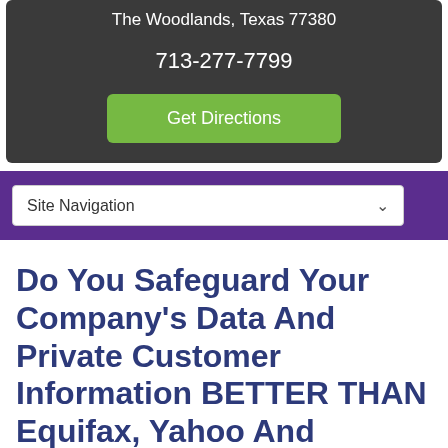The Woodlands, Texas 77380
713-277-7799
Get Directions
Site Navigation
Do You Safeguard Your Company's Data And Private Customer Information BETTER THAN Equifax, Yahoo And